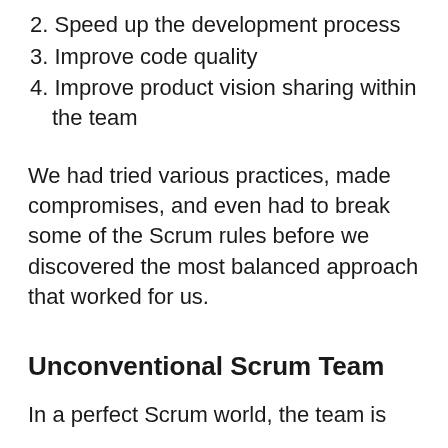2. Speed up the development process
3. Improve code quality
4. Improve product vision sharing within the team
We had tried various practices, made compromises, and even had to break some of the Scrum rules before we discovered the most balanced approach that worked for us.
Unconventional Scrum Team
In a perfect Scrum world, the team is